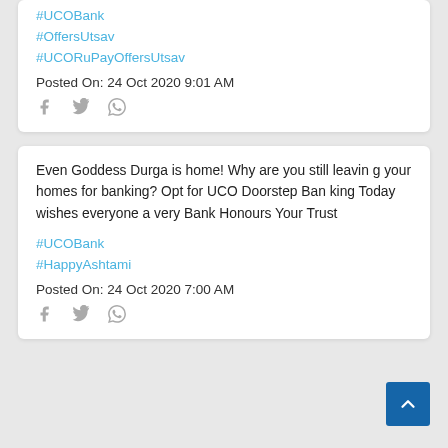#UCOBank
#OffersUtsav
#UCORuPayOffersUtsav
Posted On: 24 Oct 2020 9:01 AM
Even Goddess Durga is home! Why are you still leaving your homes for banking? Opt for UCO Doorstep Banking Today wishes everyone a very Bank Honours Your Trust
#UCOBank
#HappyAshtami
Posted On: 24 Oct 2020 7:00 AM